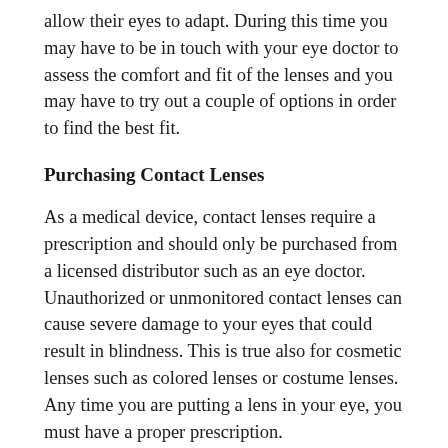allow their eyes to adapt. During this time you may have to be in touch with your eye doctor to assess the comfort and fit of the lenses and you may have to try out a couple of options in order to find the best fit.
Purchasing Contact Lenses
As a medical device, contact lenses require a prescription and should only be purchased from a licensed distributor such as an eye doctor. Unauthorized or unmonitored contact lenses can cause severe damage to your eyes that could result in blindness. This is true also for cosmetic lenses such as colored lenses or costume lenses. Any time you are putting a lens in your eye, you must have a proper prescription.
Following are some basic contact lens safety tips. If your child is responsible enough to follow these